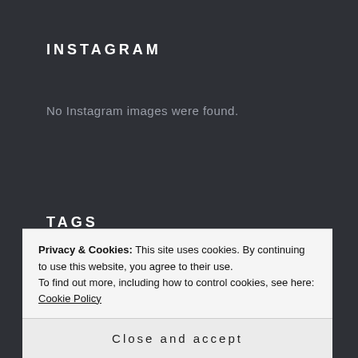INSTAGRAM
No Instagram images were found.
TAGS
Barcelona
Events
Festival
Food
Friends
Fun
Hostels
Music
Party
Privacy & Cookies: This site uses cookies. By continuing to use this website, you agree to their use.
To find out more, including how to control cookies, see here: Cookie Policy
Close and accept